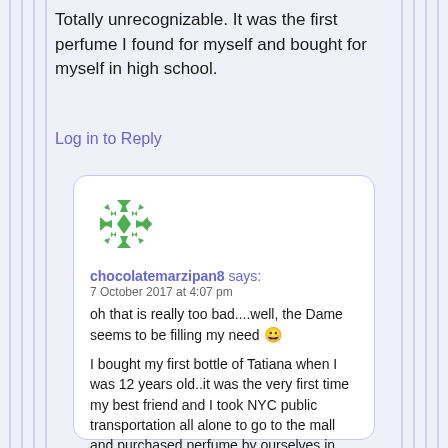Totally unrecognizable. It was the first perfume I found for myself and bought for myself in high school.
Log in to Reply
[Figure (illustration): Green snowflake/star decorative avatar icon for user chocolatemarzipan8]
chocolatemarzipan8 says:
7 October 2017 at 4:07 pm
oh that is really too bad....well, the Dame seems to be filling my need 😀

I bought my first bottle of Tatiana when I was 12 years old..it was the very first time my best friend and I took NYC public transportation all alone to go to the mall and purchased perfume by ourselves in Abraham and Strauss with our spending